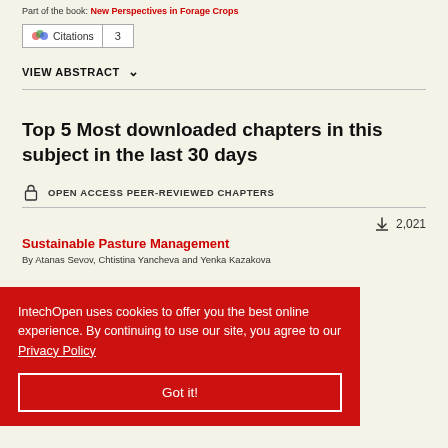Part of the book: New Perspectives in Forage Crops
[Figure (other): Citations badge with count 3]
VIEW ABSTRACT ∨
Top 5 Most downloaded chapters in this subject in the last 30 days
OPEN ACCESS PEER-REVIEWED CHAPTERS
2,021 downloads
Sustainable Pasture Management
By Atanas Sevov, Chtistina Yancheva and Yenka Kazakova
IntechOpen uses cookies to offer you the best online experience. By continuing to use our site, you agree to our Privacy Policy
Got it!